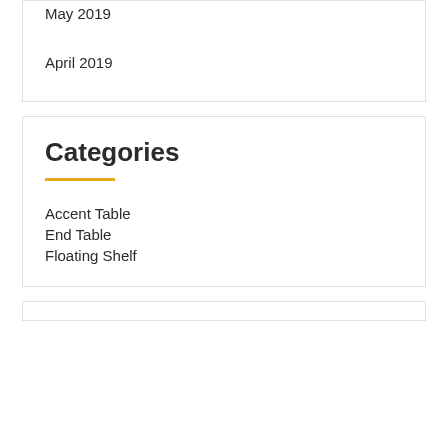May 2019
April 2019
Categories
Accent Table
End Table
Floating Shelf